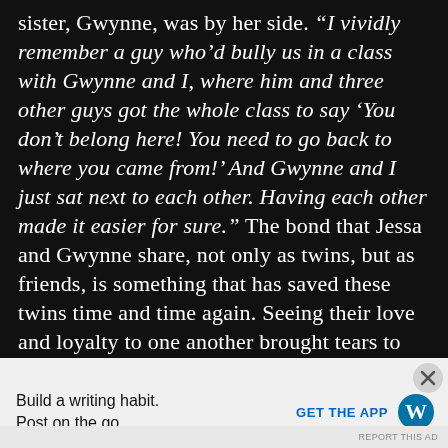sister, Gwynne, was by her side. “I vividly remember a guy who’d bully us in a class with Gwynne and I, where him and three other guys got the whole class to say ‘You don’t belong here! You need to go back to where you came from!’ And Gwynne and I just sat next to each other. Having each other made it easier for sure.” The bond that Jessa and Gwynne share, not only as twins, but as friends, is something that has saved these twins time and time again. Seeing their love and loyalty to one another brought tears to my eyes as we discussed
[Figure (screenshot): Advertisement bar at bottom: 'Build a writing habit. Post on the go.' with WordPress logo and 'GET THE APP' CTA button]